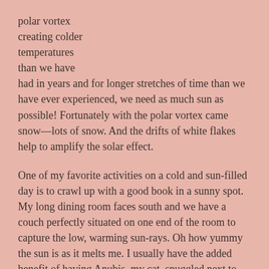polar vortex creating colder temperatures than we have had in years and for longer stretches of time than we have ever experienced, we need as much sun as possible! Fortunately with the polar vortex came snow—lots of snow. And the drifts of white flakes help to amplify the solar effect.
One of my favorite activities on a cold and sun-filled day is to crawl up with a good book in a sunny spot. My long dining room faces south and we have a couch perfectly situated on one end of the room to capture the low, warming sun-rays. Oh how yummy the sun is as it melts me. I usually have the added benefit of having Anubis, my cat, snuggled next to me and if really lucky, my husband Andy also by my side. Find yourself some sun and enjoy the magical warmth of the beams of light.